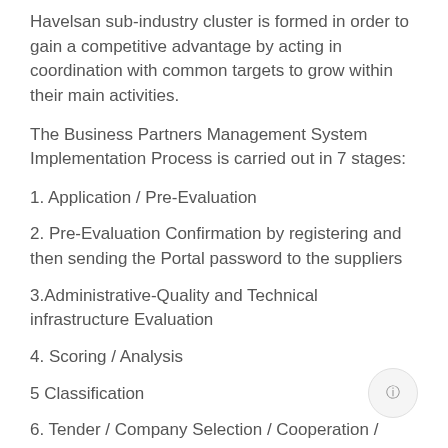Havelsan sub-industry cluster is formed in order to gain a competitive advantage by acting in coordination with common targets to grow within their main activities.
The Business Partners Management System Implementation Process is carried out in 7 stages:
1. Application / Pre-Evaluation
2. Pre-Evaluation Confirmation by registering and then sending the Portal password to the suppliers
3.Administrative-Quality and Technical infrastructure Evaluation
4. Scoring / Analysis
5 Classification
6. Tender / Company Selection / Cooperation / Contract
7. General Performance Evaluation